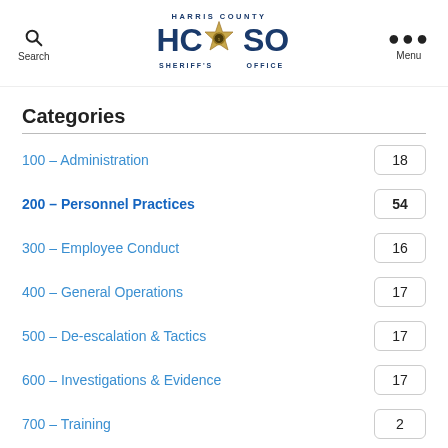Harris County Sheriff's Office
Categories
100 – Administration
200 – Personnel Practices
300 – Employee Conduct
400 – General Operations
500 – De-escalation & Tactics
600 – Investigations & Evidence
700 – Training
800 – Vehicle Operations